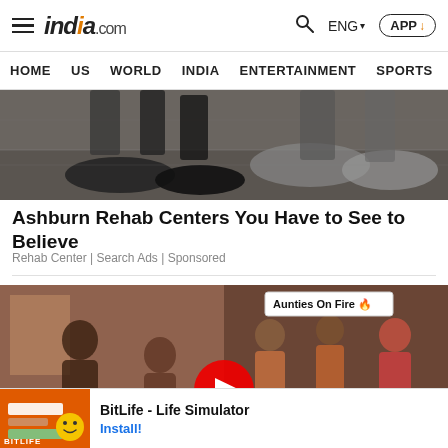india.com — HOME  US  WORLD  INDIA  ENTERTAINMENT  SPORTS  PHO
[Figure (photo): Dark overhead photo of feet and shoes on pavement/steps]
Ashburn Rehab Centers You Have to See to Believe
Rehab Center | Search Ads | Sponsored
[Figure (photo): Video thumbnail split: left side shows people in a room, right side shows women dancing with 'Aunties On Fire 🔥' overlay tag and 'READ IN APP' button; large red play button in center]
[Figure (photo): Bottom ad banner for BitLife - Life Simulator with orange app icon thumbnail and Install button]